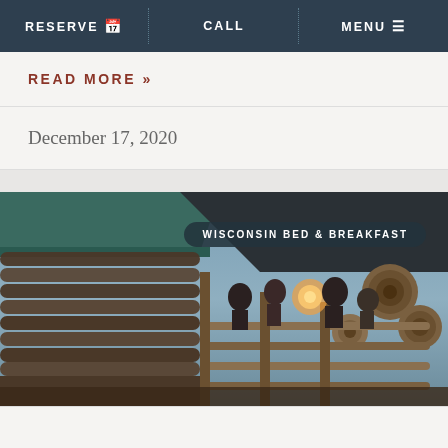RESERVE  CALL  MENU
READ MORE »
December 17, 2020
[Figure (photo): Photo of a log cabin bed and breakfast exterior at dusk. People are visible on a wooden balcony/porch. The structure shows large log construction with wooden railings. A warm light glows from inside. A dark teal/green roof edge is visible at top left. Sky is cloudy blue-grey.]
WISCONSIN BED & BREAKFAST